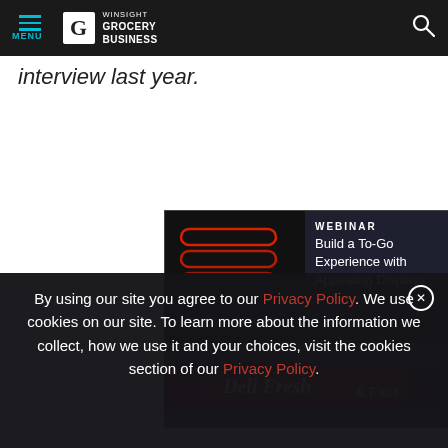MENU | WINSIGHT GROCERY BUSINESS
interview last year.
[Figure (screenshot): Advertisement banner for Alto-Shaam Webinar: Build a To-Go Experience with Appealing Displays. Dark background with red neon lines on left, and deli counter image.]
[Figure (screenshot): Smaller ad bar for same Alto-Shaam webinar: Build a To-Go Experience with Appealing Displays, with Alto-Shaam branding.]
[Figure (screenshot): reCAPTCHA widget stub with Google logo and Privacy - Terms text.]
By using our site you agree to our Privacy Policy. We use cookies on our site. To learn more about the information we collect, how we use it and your choices, visit the cookies section of our Privacy Policy.